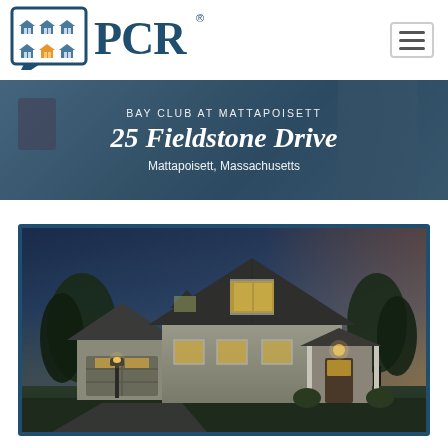[Figure (logo): PCR real estate logo with grid of house icons in blue and orange, beside large PCR text in dark navy blue with registered trademark symbol]
[Figure (other): Hamburger/navigation menu button (three horizontal lines) in a rounded rectangle border]
BAY CLUB AT MATTAPOISETT
25 Fieldstone Drive
Mattapoisett, Massachusetts
[Figure (photo): Evening/dusk exterior photo of a large two-story gray cape-cod style house with lit windows, garage, front porch, surrounded by trees, at Bay Club at Mattapoisett, 25 Fieldstone Drive]